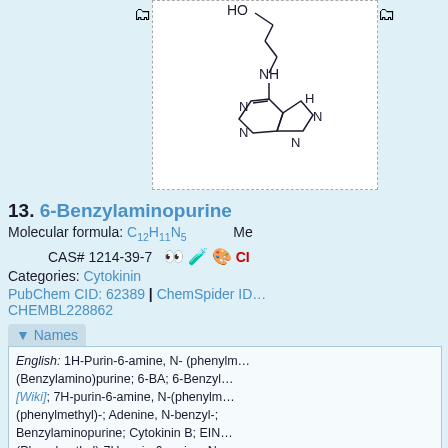[Figure (engineering-diagram): Chemical structure diagram of 6-Benzylaminopurine showing HO group at top connected via chain to NH, then to a purine ring system with N, H, N labels]
13. 6-Benzylaminopurine
Molecular formula: C12H11N5
CAS# 1214-39-7  [icons]  CI
Categories: Cytokinin
PubChem CID: 62389 | ChemSpider ID... CHEMBL228862
Names
English: 1H-Purin-6-amine, N- (phenylm... (Benzylamino)purine; 6-BA; 6-Benzyl... [Wiki]; 7H-purin-6-amine, N-(phenylm... (phenylmethyl)-; Adenine, N-benzyl-; Benzylaminopurine; Cytokinin B; EIN... (Phenylmethyl)-7H-purin-6-amine; N-